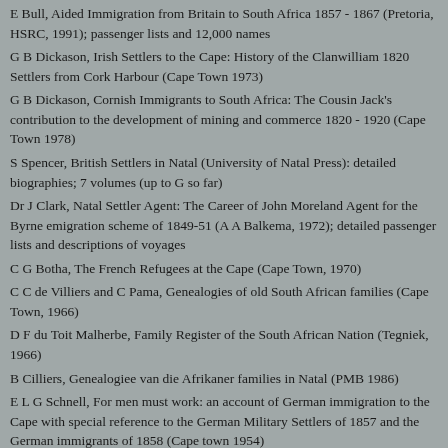E Bull, Aided Immigration from Britain to South Africa 1857 - 1867 (Pretoria, HSRC, 1991); passenger lists and 12,000 names
G B Dickason, Irish Settlers to the Cape: History of the Clanwilliam 1820 Settlers from Cork Harbour (Cape Town 1973)
G B Dickason, Cornish Immigrants to South Africa: The Cousin Jack's contribution to the development of mining and commerce 1820 - 1920 (Cape Town 1978)
S Spencer, British Settlers in Natal (University of Natal Press): detailed biographies; 7 volumes (up to G so far)
Dr J Clark, Natal Settler Agent: The Career of John Moreland Agent for the Byrne emigration scheme of 1849-51 (A A Balkema, 1972); detailed passenger lists and descriptions of voyages
C G Botha, The French Refugees at the Cape (Cape Town, 1970)
C C de Villiers and C Pama, Genealogies of old South African families (Cape Town, 1966)
D F du Toit Malherbe, Family Register of the South African Nation (Tegniek, 1966)
B Cilliers, Genealogiee van die Afrikaner families in Natal (PMB 1986)
E L G Schnell, For men must work: an account of German immigration to the Cape with special reference to the German Military Settlers of 1857 and the German immigrants of 1858 (Cape town 1954)
S Watt, Roll of Honour of Imperial Forces Anglo-Boer War 1899-1902